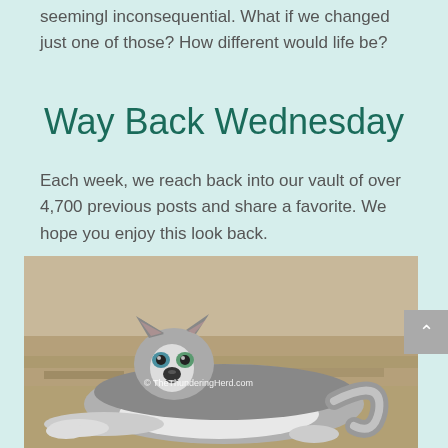seemingl inconsequential. What if we changed just one of those? How different would life be?
Way Back Wednesday
Each week, we reach back into our vault of over 4,700 previous posts and share a favorite. We hope you enjoy this look back.
[Figure (photo): A Siberian Husky dog lying on dry grass, looking at the camera with blue/green eyes. Watermark reads © TheThunderingHerd.com]